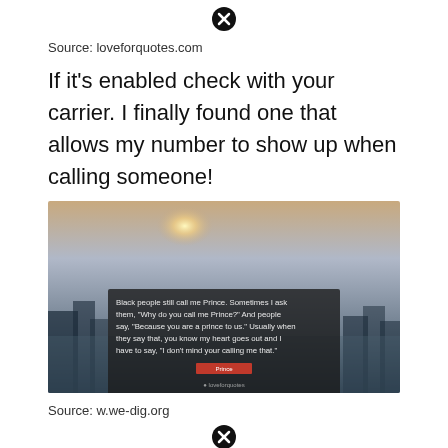[Figure (other): Close/dismiss button icon (circle with X) at top center]
Source: loveforquotes.com
If it's enabled check with your carrier. I finally found one that allows my number to show up when calling someone!
[Figure (photo): Quote image with misty forest/sunrise background showing a quote text overlay: 'Black people still call me Prince. Sometimes I ask them, "Why do you call me Prince?" And people say, "Because you are a prince to us." Usually when they say that, you know my heart goes out and I have to say, "I don't mind your calling me that."' with a pink/red attribution label and loveforquotes.com watermark]
Source: w.we-dig.org
[Figure (other): Close/dismiss button icon (circle with X) at bottom center]